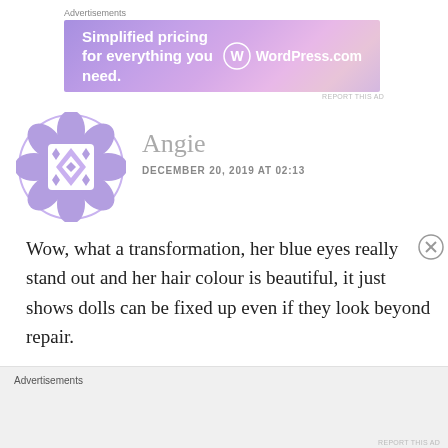[Figure (screenshot): Advertisement banner for WordPress.com: gradient purple/pink background with text 'Simplified pricing for everything you need.' and WordPress.com logo]
Angie
DECEMBER 20, 2019 AT 02:13
Wow, what a transformation, her blue eyes really stand out and her hair colour is beautiful, it just shows dolls can be fixed up even if they look beyond repair.
Advertisements